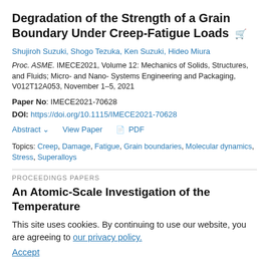Degradation of the Strength of a Grain Boundary Under Creep-Fatigue Loads
Shujiroh Suzuki, Shogo Tezuka, Ken Suzuki, Hideo Miura
Proc. ASME. IMECE2021, Volume 12: Mechanics of Solids, Structures, and Fluids; Micro- and Nano- Systems Engineering and Packaging, V012T12A053, November 1–5, 2021
Paper No: IMECE2021-70628
DOI: https://doi.org/10.1115/IMECE2021-70628
Abstract   View Paper   PDF
Topics: Creep, Damage, Fatigue, Grain boundaries, Molecular dynamics, Stress, Superalloys
PROCEEDINGS PAPERS
An Atomic-Scale Investigation of the Temperature
This site uses cookies. By continuing to use our website, you are agreeing to our privacy policy.
Accept